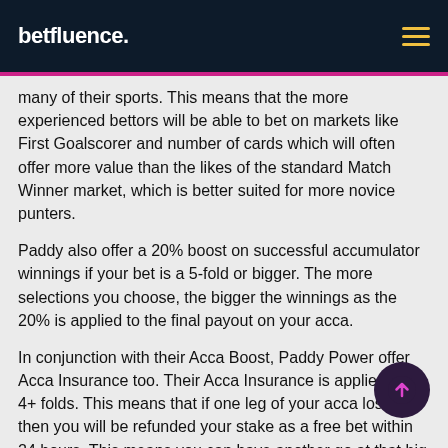betfluence.
many of their sports. This means that the more experienced bettors will be able to bet on markets like First Goalscorer and number of cards which will often offer more value than the likes of the standard Match Winner market, which is better suited for more novice punters.
Paddy also offer a 20% boost on successful accumulator winnings if your bet is a 5-fold or bigger. The more selections you choose, the bigger the winnings as the 20% is applied to the final payout on your acca.
In conjunction with their Acca Boost, Paddy Power offer Acca Insurance too. Their Acca Insurance is applied to all 4+ folds. This means that if one leg of your acca loses then you will be refunded your stake as a free bet within 24 hours. This means you can have another go at that big Acca with the free bet if you choose to do so.
The site also allows you to tweak your preference of how the odds